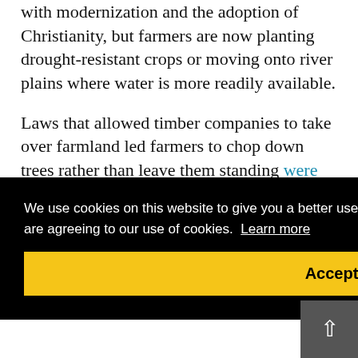with modernization and the adoption of Christianity, but farmers are now planting drought-resistant crops or moving onto river plains where water is more readily available.
Laws that allowed timber companies to take over farmland led farmers to chop down trees rather than leave them standing were rewritten in 2002. Now farmers are reverting to tradition by
We use cookies on this website to give you a better user experience. By continuing to browse the site, you are agreeing to our use of cookies. Learn more
Accept